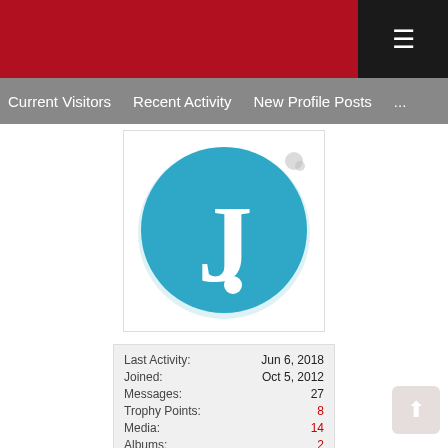Current Visitors   Recent Activity   New Profile Posts   ...
[Figure (logo): Round teal/blue circle with a white letter J and a dot, resembling a profile avatar logo]
| Last Activity: | Jun 6, 2018 |
| Joined: | Oct 5, 2012 |
| Messages: | 27 |
| Trophy Points: | 8 |
| Media: | 14 |
| Albums: | 2 |
| Resources: | 2 |
| Positive ratings received: | 1 |
| Negative ratings received: | 0 |